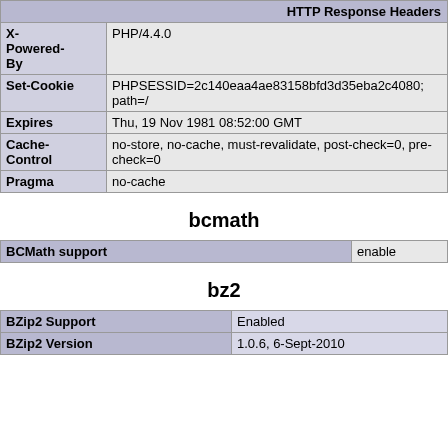| HTTP Response Headers |
| --- |
| X-Powered-By | PHP/4.4.0 |
| Set-Cookie | PHPSESSID=2c140eaa4ae83158bfd3d35eba2c4080; path=/ |
| Expires | Thu, 19 Nov 1981 08:52:00 GMT |
| Cache-Control | no-store, no-cache, must-revalidate, post-check=0, pre-check=0 |
| Pragma | no-cache |
bcmath
| BCMath support | enabled |
| --- | --- |
bz2
| BZip2 Support | Enabled |
| BZip2 Version | 1.0.6, 6-Sept-2010 |